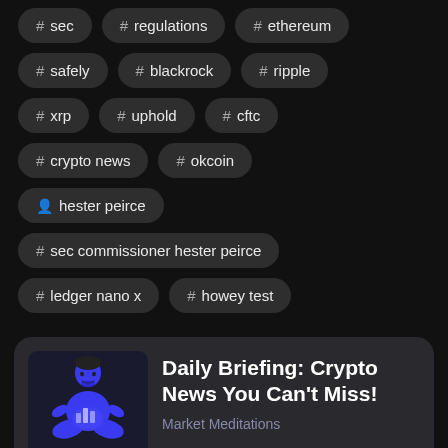# sec
# regulations
# ethereum
# safely
# blackrock
# ripple
# xrp
# uphold
# cftc
# crypto news
# okcoin
hester peirce
# sec commissioner hester peirce
# ledger nano x
# howey test
Daily Briefing: Crypto News You Can't Miss!
Market Meditations
[Figure (illustration): Blue illustrated figure of a person meditating in lotus position, holding a glowing bar chart, on dark background]